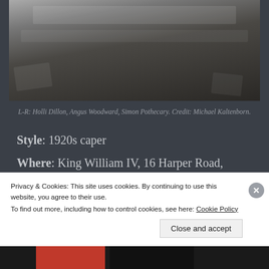[Figure (photo): Black and white / dark toned photo of people at a table with papers and tools, shot from above, business/planning meeting scene]
L-R: Holli Dillon, Angus Woodward, Simon Pothecary. Credit: Michael Kaltenborn.
Style: 1920s caper
Where: King William IV, 16 Harper Road, London SE1 6AD
Rating: 5/5 stars
Privacy & Cookies: This site uses cookies. By continuing to use this website, you agree to their use.
To find out more, including how to control cookies, see here: Cookie Policy
Close and accept